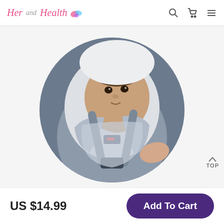Her and Health — navigation with search, cart, and menu icons
[Figure (photo): Baby strapped into a car seat with gray harness and red buckle button, wrapped in a light blanket, shown in a circular cropped photo]
US $14.99
Add To Cart